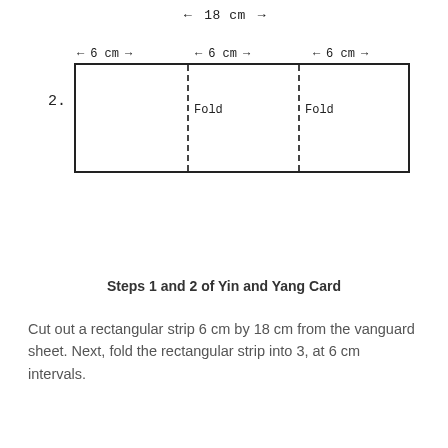[Figure (illustration): Two-part diagram showing a rectangular strip labeled 18 cm wide (step 1, top) and a rectangle divided into three 6 cm sections with dashed fold lines labeled 'Fold' (step 2, bottom). Arrows indicate measurements.]
Steps 1 and 2 of Yin and Yang Card
Cut out a rectangular strip 6 cm by 18 cm from the vanguard sheet. Next, fold the rectangular strip into 3, at 6 cm intervals.